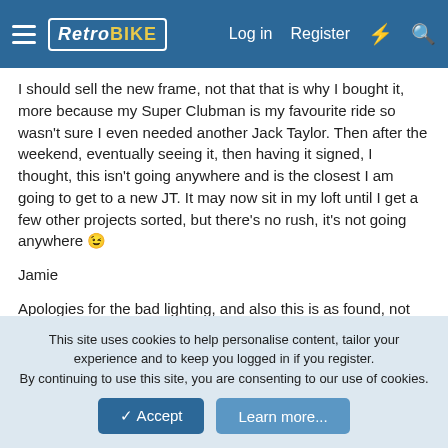RetroBIKE — Log in | Register
I should sell the new frame, not that that is why I bought it, more because my Super Clubman is my favourite ride so wasn't sure I even needed another Jack Taylor. Then after the weekend, eventually seeing it, then having it signed, I thought, this isn't going anywhere and is the closest I am going to get to a new JT. It may now sit in my loft until I get a few other projects sorted, but there's no rush, it's not going anywhere 😉
Jamie
Apologies for the bad lighting, and also this is as found, not even wiped over with a rag.
[Figure (photo): Partial view of a bicycle frame photo, as found condition]
This site uses cookies to help personalise content, tailor your experience and to keep you logged in if you register. By continuing to use this site, you are consenting to our use of cookies.